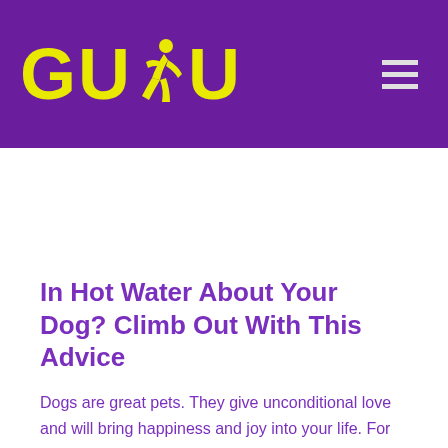[Figure (logo): GUDU logo with yellow bold text and a running figure silhouette in the middle, on a purple background header with a hamburger menu icon on the right]
In Hot Water About Your Dog? Climb Out With This Advice
Dogs are great pets. They give unconditional love and will bring happiness and joy into your life. For this relationship to work out well, you need to learn all you can about caring for your pet. This article can provide you with a great start for your growing canine knowledge.